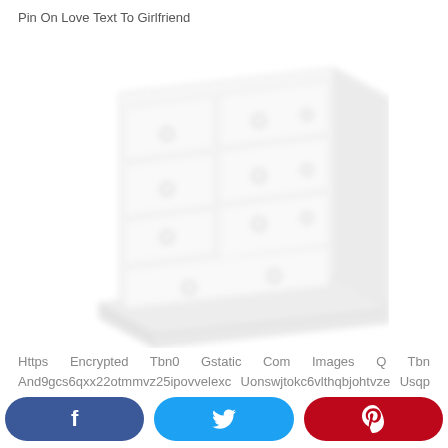Pin On Love Text To Girlfriend
[Figure (illustration): A white painted wooden chest of drawers with multiple drawers and round knob handles, shown in a slightly angled perspective view on a white background.]
Https Encrypted Tbn0 Gstatic Com Images Q Tbn And9gcs6qxx22otmmvz25ipovvelexc Uonswjtokc6vlthqbjohtvze Usqp Cau